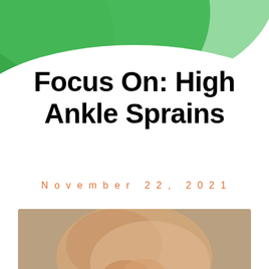Focus On: High Ankle Sprains
November 22, 2021
[Figure (photo): Person holding/massaging their ankle, with a dark overlay showing text 'FOCUS ON: High Ankle Sprains']